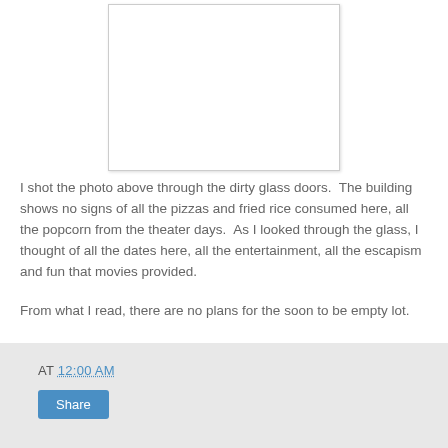[Figure (photo): A white rectangular photo placeholder/image box with a light border and shadow, showing a photo taken through dirty glass doors of a building interior.]
I shot the photo above through the dirty glass doors.  The building shows no signs of all the pizzas and fried rice consumed here, all the popcorn from the theater days.  As I looked through the glass, I thought of all the dates here, all the entertainment, all the escapism and fun that movies provided.
From what I read, there are no plans for the soon to be empty lot.
AT 12:00 AM  Share